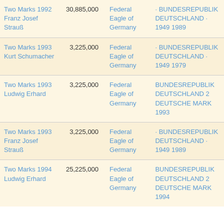| Name | Mintage | Obverse | Reverse |
| --- | --- | --- | --- |
| Two Marks 1992 Franz Josef Strauß | 30,885,000 | Federal Eagle of Germany | · BUNDESREPUBLIK DEUTSCHLAND · 1949 1989 |
| Two Marks 1993 Kurt Schumacher | 3,225,000 | Federal Eagle of Germany | · BUNDESREPUBLIK DEUTSCHLAND · 1949 1979 |
| Two Marks 1993 Ludwig Erhard | 3,225,000 | Federal Eagle of Germany | BUNDESREPUBLIK DEUTSCHLAND 2 DEUTSCHE MARK 1993 |
| Two Marks 1993 Franz Josef Strauß | 3,225,000 | Federal Eagle of Germany | · BUNDESREPUBLIK DEUTSCHLAND · 1949 1989 |
| Two Marks 1994 Ludwig Erhard | 25,225,000 | Federal Eagle of Germany | BUNDESREPUBLIK DEUTSCHLAND 2 DEUTSCHE MARK 1994 |